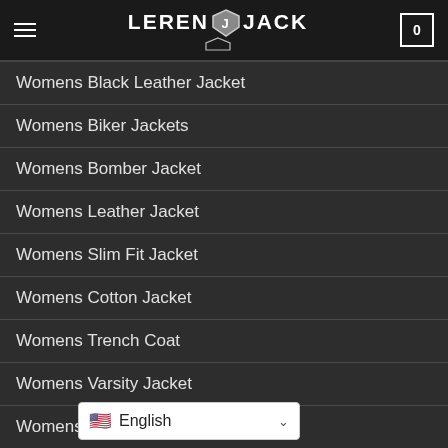LEREN JACK
Womens Black Leather Jacket
Womens Biker Jackets
Womens Bomber Jacket
Womens Leather Jacket
Womens Slim Fit Jacket
Womens Cotton Jacket
Womens Trench Coat
Womens Varsity Jacket
Womens Blazers
Womens Suits
English